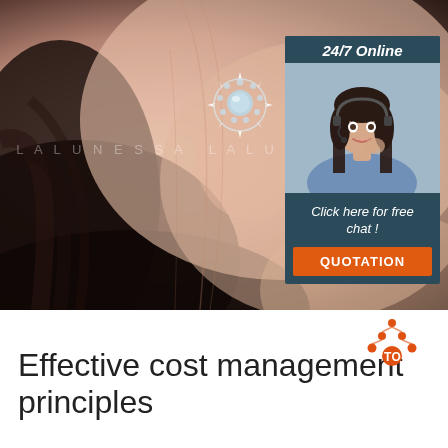[Figure (photo): Close-up photo of a woman's ear wearing a silver crystal/diamond halo stud earring, with dark hair and skin-toned background. Watermark text 'LALUNESSA' repeated across middle.]
[Figure (infographic): Advertisement box with dark blue background: '24/7 Online' header, photo of a smiling woman with headset, text 'Click here for free chat!', and orange 'QUOTATION' button.]
Effective cost management principles
[Figure (logo): Orange triangle/dots logo with 'TOP' text]